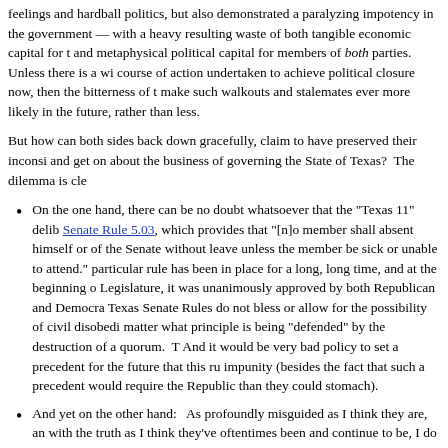feelings and hardball politics, but also demonstrated a paralyzing impotency in the government — with a heavy resulting waste of both tangible economic capital for t and metaphysical political capital for members of both parties. Unless there is a wi course of action undertaken to achieve political closure now, then the bitterness of t make such walkouts and stalemates ever more likely in the future, rather than less.
But how can both sides back down gracefully, claim to have preserved their inconsi and get on about the business of governing the State of Texas? The dilemma is cle
On the one hand, there can be no doubt whatsoever that the "Texas 11" deli Senate Rule 5.03, which provides that "[n]o member shall absent himself or of the Senate without leave unless the member be sick or unable to attend." particular rule has been in place for a long, long time, and at the beginning o Legislature, it was unanimously approved by both Republican and Democra Texas Senate Rules do not bless or allow for the possibility of civil disobedi matter what principle is being "defended" by the destruction of a quorum. T And it would be very bad policy to set a precedent for the future that this ru impunity (besides the fact that such a precedent would require the Republic than they could stomach).
And yet on the other hand: As profoundly misguided as I think they are, an with the truth as I think they've oftentimes been and continue to be, I do not Democratic senators who fled the state were, ultimately, sincere in their beli retribution for its own sake would be worse than petty and politically stupid